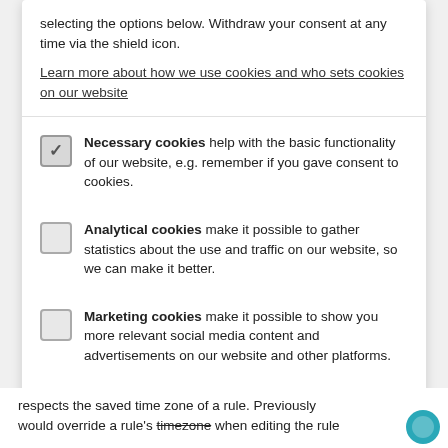selecting the options below. Withdraw your consent at any time via the shield icon.
Learn more about how we use cookies and who sets cookies on our website
Necessary cookies help with the basic functionality of our website, e.g. remember if you gave consent to cookies.
Analytical cookies make it possible to gather statistics about the use and traffic on our website, so we can make it better.
Marketing cookies make it possible to show you more relevant social media content and advertisements on our website and other platforms.
Accept necessary
Accept all
Privacy by openli
respects the saved time zone of a rule. Previously would override a rule's timezone when editing the rule